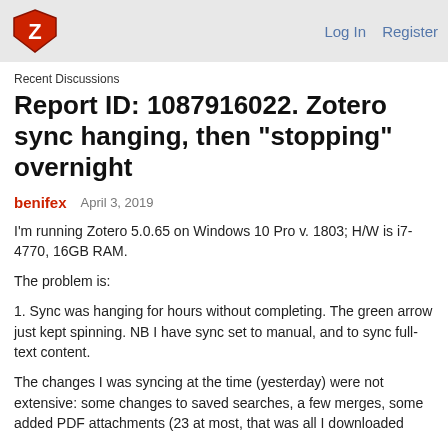Log In   Register
Recent Discussions
Report ID: 1087916022. Zotero sync hanging, then "stopping" overnight
benifex   April 3, 2019
I'm running Zotero 5.0.65 on Windows 10 Pro v. 1803; H/W is i7-4770, 16GB RAM.
The problem is:
1. Sync was hanging for hours without completing. The green arrow just kept spinning. NB I have sync set to manual, and to sync full-text content.
The changes I was syncing at the time (yesterday) were not extensive: some changes to saved searches, a few merges, some added PDF attachments (23 at most, that was all I downloaded